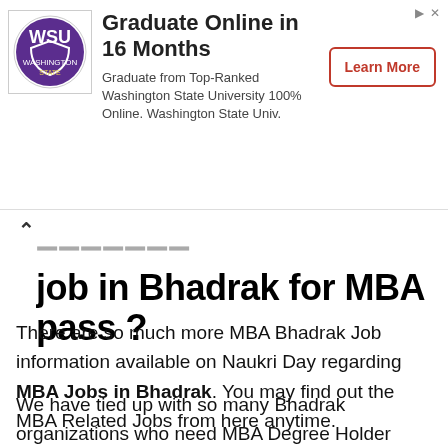[Figure (other): Advertisement banner for Washington State University online MBA program with WSU logo, headline 'Graduate Online in 16 Months', subtitle text, and 'Learn More' button]
job in Bhadrak for MBA pass ?
There are so much more MBA Bhadrak Job information available on Naukri Day regarding MBA Jobs in Bhadrak. You may find out the MBA Related Jobs from here anytime.
We have tied up with so many Bhadrak organizations who need MBA Degree Holder Employees on frequent basis. Well you will be getting reputed MBA Bhadrak jobs for sure. There are so many Bhadrak Jobs available for MBA Degree Holders which can easily be checked from